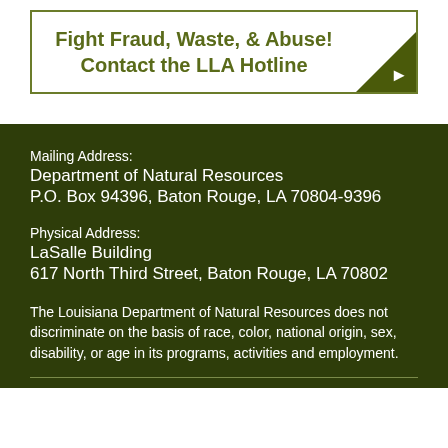Fight Fraud, Waste, & Abuse! Contact the LLA Hotline
Mailing Address:
Department of Natural Resources
P.O. Box 94396, Baton Rouge, LA 70804-9396
Physical Address:
LaSalle Building
617 North Third Street, Baton Rouge, LA 70802
The Louisiana Department of Natural Resources does not discriminate on the basis of race, color, national origin, sex, disability, or age in its programs, activities and employment.